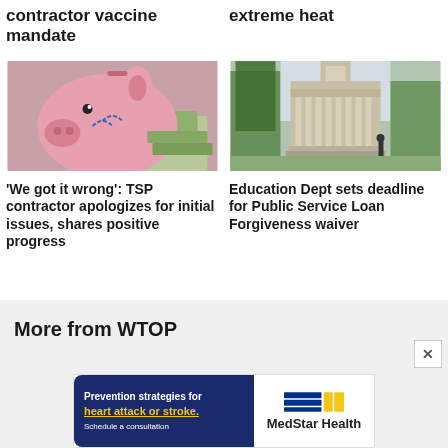contractor vaccine mandate
extreme heat
[Figure (photo): Pink piggy bank sitting on top of US dollar bills]
'We got it wrong': TSP contractor apologizes for initial issues, shares positive progress
[Figure (photo): Penn State university building with columns visible through autumn trees, person walking on campus]
Education Dept sets deadline for Public Service Loan Forgiveness waiver
More from WTOP
[Figure (other): MedStar Health advertisement: Prevention strategies for heart attack or stroke. Schedule a consultation.]